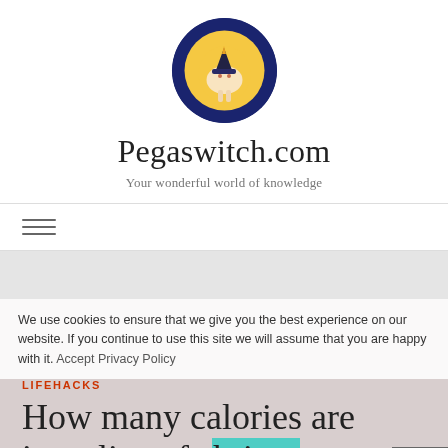[Figure (logo): Circular logo with dark blue/navy border showing a cartoon unicorn wearing a witch hat against a yellow moon background]
Pegaswitch.com
Your wonderful world of knowledge
≡ (hamburger menu icon)
LIFEHACKS
How many calories are in a slice of shrimp pizza?
We use cookies to ensure that we give you the best experience on our website. If you continue to use this site we will assume that you are happy with it. Accept Privacy Policy